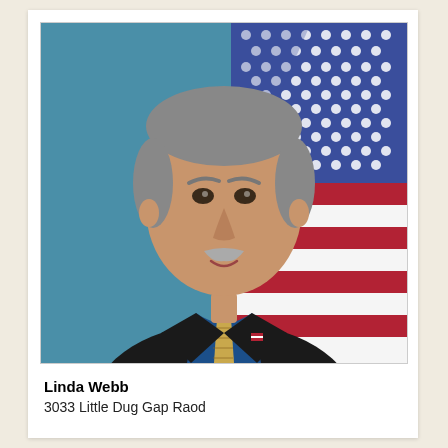[Figure (photo): Official portrait of a middle-aged man with grey hair and a mustache, wearing a dark suit, blue shirt, and patterned gold tie with a small American flag pin. He is standing in front of an American flag with a teal/blue background.]
Linda Webb
3033 Little Dug Gap Raod